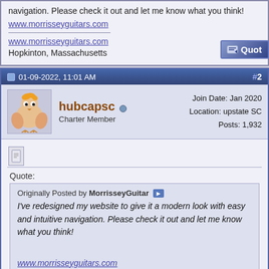navigation. Please check it out and let me know what you think!
www.morrisseyguitars.com
www.morrisseyguitars.com
Hopkinton, Massachusetts
01-09-2022, 11:01 AM
#2
hubcapsc
Charter Member
Join Date: Jan 2020
Location: upstate SC
Posts: 1,932
Quote:
Originally Posted by MorrisseyGuitar
I've redesigned my website to give it a modern look with easy and intuitive navigation. Please check it out and let me know what you think!

www.morrisseyguitars.com
Lots of nice guitars, and the website generally looks good to me. It renders a little funny on firefox and chrome on my fedora laptop, the links on the top line go past the edge and "Accolades" is chopped